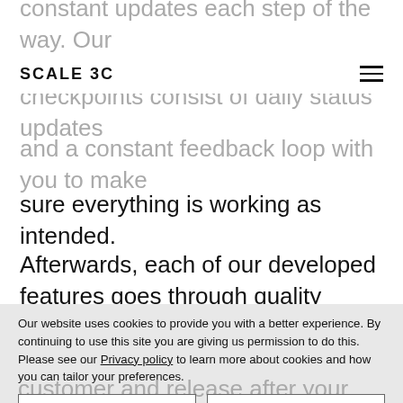constant updates each step of the way. Our checkpoints consist of daily status updates and a constant feedback loop with you to make sure everything is working as intended.
SCALE 3C
Afterwards, each of our developed features goes through quality assurance, during which a QA specialist, a UX/UI designer and product owner validate the deliveries.
Our website uses cookies to provide you with a better experience. By continuing to use this site you are giving us permission to do this. Please see our Privacy policy to learn more about cookies and how you can tailor your preferences.
ACCEPT
DECLINE
In the end we do a final review with the customer and release after your GO decision.
If you are interested, Request a quote now and